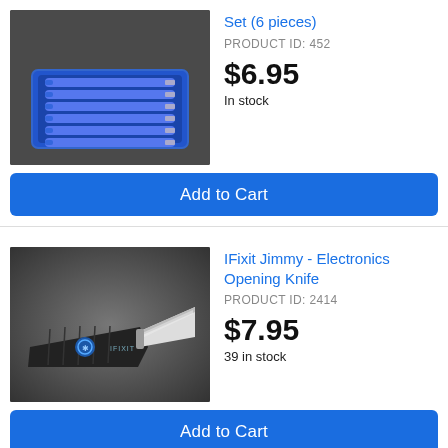[Figure (photo): Blue plastic tool tray holding 6 precision screwdrivers with blue handles, photographed on dark background]
Set (6 pieces)
PRODUCT ID: 452
$6.95
In stock
Add to Cart
[Figure (photo): iFixit Jimmy electronics opening knife with black handle and iFixit logo, silver blade, photographed on dark background]
IFixit Jimmy - Electronics Opening Knife
PRODUCT ID: 2414
$7.95
39 in stock
Add to Cart